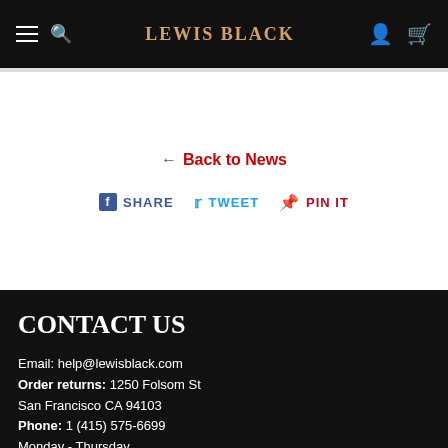LEWIS BLACK
← Back to News
SHARE   TWEET   PIN IT
CONTACT US
Email: help@lewisblack.com
Order returns: 1250 Folsom St San Francisco CA 94103
Phone: 1 (415) 575-6699
Monday - Thursday